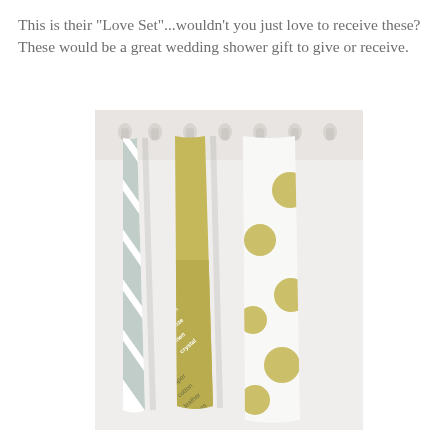This is their "Love Set"...wouldn't you just love to receive these? These would be a great wedding shower gift to give or receive.
[Figure (photo): Three decorative kitchen/tea towels hanging on hooks against a white paneled wall. Left towel has diagonal sage green and white stripes. Middle towel is olive/yellow-green with white text listing anniversary gift materials (paper, cotton, leather, etc.) arranged diagonally. Right towel is white with large olive/yellow-green polka dots.]